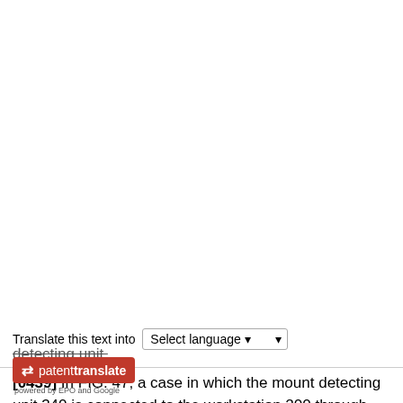The translation is machine-generated. It cannot be guaranteed that it is intelligible, accurate, complete, reliable or fit for specific purposes. Critical decisions, such as commercially relevant or financial decisions, should not be based on machine-translation output.
[Figure (screenshot): Patent translate widget with 'Select language' dropdown and patenttranslate logo (powered by EPO and Google)]
detecting unit.
[0439] In FIG. 47, a case in which the mount detecting unit 340 is connected to the workstation 200 through the cable and the network hub 410 was exemplified. However, as illustrated in FIG. 48, the manipulation unit 80 may be further